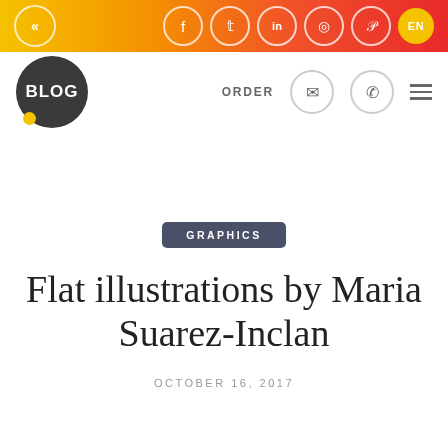[Figure (screenshot): Top gradient navigation bar with back chevron on left and social media icons (Facebook, Twitter, LinkedIn, Instagram, Pinterest) and EN language badge on right, on orange-red gradient background]
[Figure (logo): BLOG circular dark grey logo with yellow dot accent, followed by ORDER text, email icon circle, phone icon circle, and hamburger menu]
GRAPHICS
Flat illustrations by Maria Suarez-Inclan
OCTOBER 16, 2017